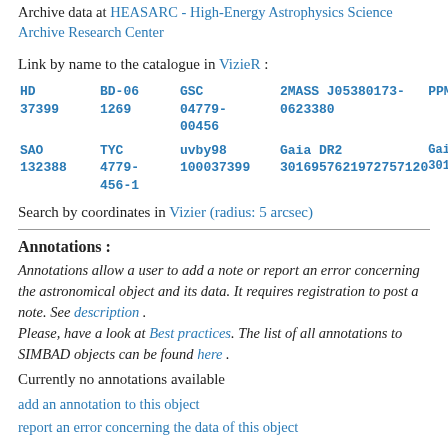Archive data at HEASARC - High-Energy Astrophysics Science Archive Research Center
Link by name to the catalogue in VizieR :
HD 37399  BD-06 1269  GSC 04779-00456  2MASS J05380173-0623380  PPM 188282  SAO 132388  TYC 4779-456-1  uvby98 100037399  Gaia DR2 3016957621972757120  Gaia DR1 3016957617676228...
Search by coordinates in Vizier (radius: 5 arcsec)
Annotations :
Annotations allow a user to add a note or report an error concerning the astronomical object and its data. It requires registration to post a note. See description . Please, have a look at Best practices. The list of all annotations to SIMBAD objects can be found here .
Currently no annotations available
add an annotation to this object
report an error concerning the data of this object